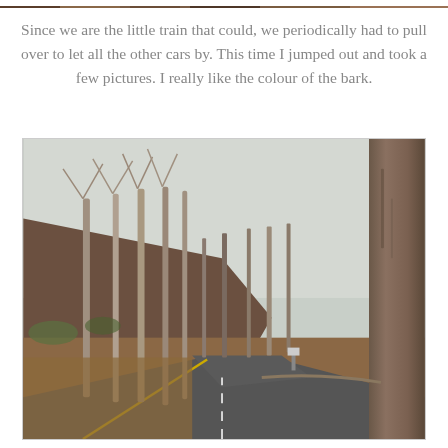[Figure (photo): Top strip of a photo showing trees and forest, cropped at the very top of the page]
Since we are the little train that could, we periodically had to pull over to let all the other cars by. This time I jumped out and took a few pictures. I really like the colour of the bark.
[Figure (photo): A winding road through a forest of bare deciduous trees in autumn/winter. The road curves to the right, with a steep hillside covered in leaf litter and sparse green undergrowth on the left. Large tree trunks dominate the right side. The sky is overcast and pale grey.]